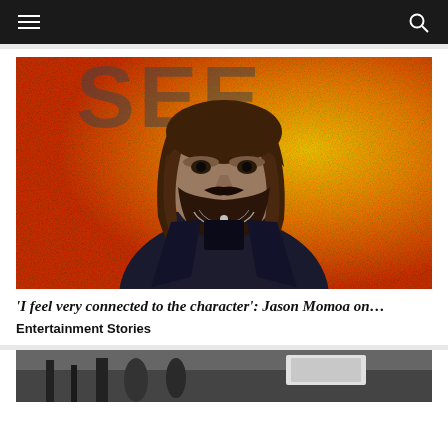Navigation bar with hamburger menu and search icon
[Figure (photo): Jason Momoa with long wavy dark hair and beard, wearing a black blazer and layered necklaces, posing in front of an orange/yellow speckled backdrop with partial letters 'SEE' visible]
‘I feel very connected to the character’: Jason Momoa on…
Entertainment Stories
[Figure (photo): Partial view of another article image at the bottom of the page, showing a scene with people and equipment]